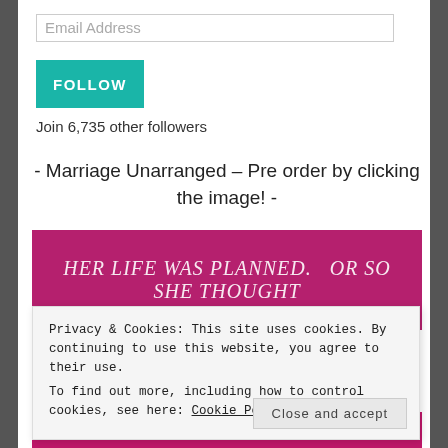Email Address
FOLLOW
Join 6,735 other followers
- Marriage Unarranged – Pre order by clicking the image! -
[Figure (illustration): Book cover image with magenta/pink background and white italic text reading 'Her life was planned. Or so she thought']
Privacy & Cookies: This site uses cookies. By continuing to use this website, you agree to their use.
To find out more, including how to control cookies, see here: Cookie Policy
Close and accept
[Figure (illustration): Bottom strip of book cover with magenta background and orange/gold text reading 'UNARRANGED']